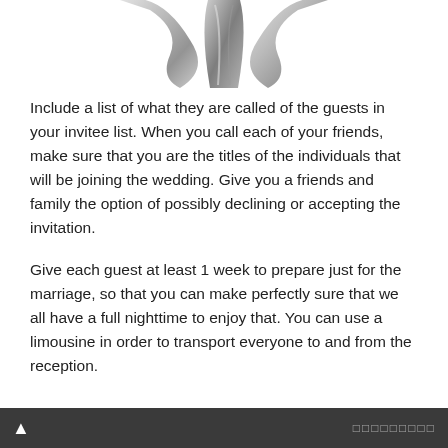[Figure (illustration): Partial view of a silver/metallic swirl or ribbon decorative graphic at the top of the page]
Include a list of what they are called of the guests in your invitee list. When you call each of your friends, make sure that you are the titles of the individuals that will be joining the wedding. Give you a friends and family the option of possibly declining or accepting the invitation.
Give each guest at least 1 week to prepare just for the marriage, so that you can make perfectly sure that we all have a full nighttime to enjoy that. You can use a limousine in order to transport everyone to and from the reception.
[Figure (screenshot): Social sharing buttons: Facebook, Twitter, WhatsApp, LINE, and a general share/plus button]
▲  ◻◻◻◻◻◻◻◻◻